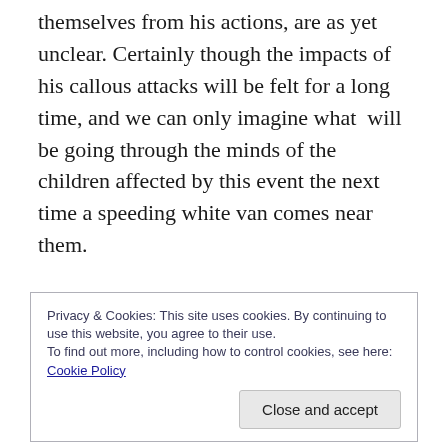themselves from his actions, are as yet unclear. Certainly though the impacts of his callous attacks will be felt for a long time, and we can only imagine what  will be going through the minds of the children affected by this event the next time a speeding white van comes near them.

The story was appalling, and yet, as the day of the incident wore on, another story developed on the pages of social networking sites. For an attack on a capital city which had affected so many, there was a lingering sense of confusion, and then anger, as to why this merited so
Privacy & Cookies: This site uses cookies. By continuing to use this website, you agree to their use.
To find out more, including how to control cookies, see here: Cookie Policy
Close and accept
No doubt the crumbling of the Westminster Government